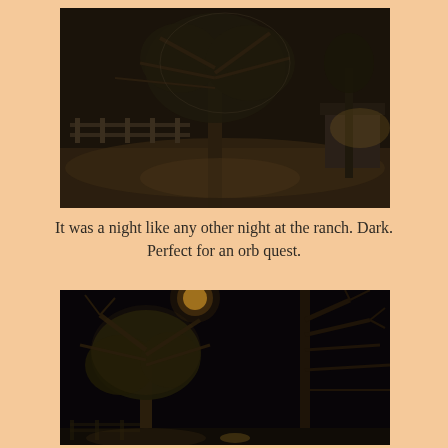[Figure (photo): Night photograph of a ranch scene with large trees, a wooden fence, and low ambient lighting illuminating the ground and tree canopies. Sepia/dark toned image.]
It was a night like any other night at the ranch. Dark. Perfect for an orb quest.
[Figure (photo): Second night photograph showing large trees from below, a nearly full moon or bright light source visible at the top, with dark sky and dimly lit tree branches and fence in background.]